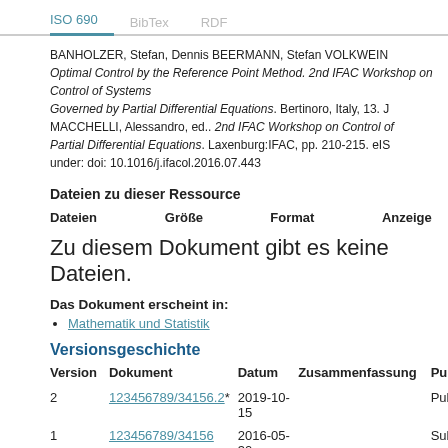ISO 690   BibTex   RDF
BANHOLZER, Stefan, Dennis BEERMANN, Stefan VOLKWEIN. Optimal Control by the Reference Point Method. 2nd IFAC Workshop on Control of Systems Governed by Partial Differential Equations. Bertinoro, Italy, 13. J... MACCHELLI, Alessandro, ed.. 2nd IFAC Workshop on Control of Systems Governed by Partial Differential Equations. Laxenburg:IFAC, pp. 210-215. eIS... under: doi: 10.1016/j.ifacol.2016.07.443
Dateien zu dieser Ressource
| Dateien | Größe | Format | Anzeige |
| --- | --- | --- | --- |
Zu diesem Dokument gibt es keine Dateien.
Das Dokument erscheint in:
Mathematik und Statistik
Versionsgeschichte
| Version | Dokument | Datum | Zusammenfassung | Publi... |
| --- | --- | --- | --- | --- |
| 2 | 123456789/34156.2* | 2019-10-15 |  | Publi... |
| 1 | 123456789/34156 | 2016-05-30 |  | Subm... |